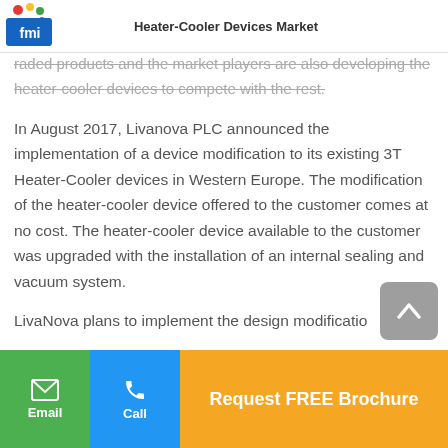Heater-Cooler Devices Market
raded products and the market players are also developing the heater-cooler devices to compete with the rest.
In August 2017, Livanova PLC announced the implementation of a device modification to its existing 3T Heater-Cooler devices in Western Europe. The modification of the heater-cooler device offered to the customer comes at no cost. The heater-cooler device available to the customer was upgraded with the installation of an internal sealing and vacuum system.
LivaNova plans to implement the design modificatio...